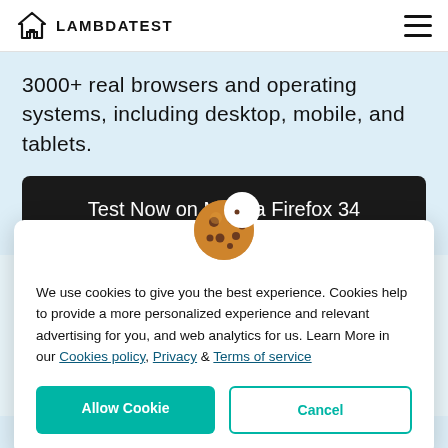LAMBDATEST
3000+ real browsers and operating systems, including desktop, mobile, and tablets.
Test Now on Mozilla Firefox 34
[Figure (illustration): Cookie emoji icon — round brown cookie with chocolate chips]
We use cookies to give you the best experience. Cookies help to provide a more personalized experience and relevant advertising for you, and web analytics for us. Learn More in our Cookies policy, Privacy & Terms of service
Allow Cookie
Cancel
Firefox version 34